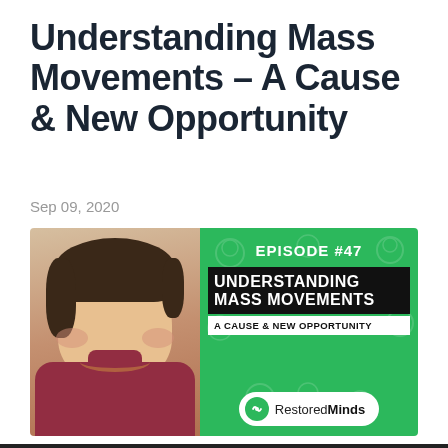Understanding Mass Movements - A Cause & New Opportunity
Sep 09, 2020
[Figure (photo): Podcast episode thumbnail. Left half: photo of a smiling man in a dark red shirt. Right half: green background with white text reading EPISODE #47, then a black banner with UNDERSTANDING MASS MOVEMENTS, then a white banner reading A CAUSE & NEW OPPORTUNITY, and a RestoredMinds logo pill at the bottom.]